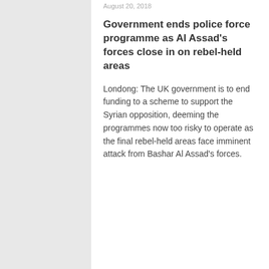August 20, 2018
Government ends police force programme as Al Assad’s forces close in on rebel-held areas
Londong: The UK government is to end funding to a scheme to support the Syrian opposition, deeming the programmes now too risky to operate as the final rebel-held areas face imminent attack from Bashar Al Assad’s forces.